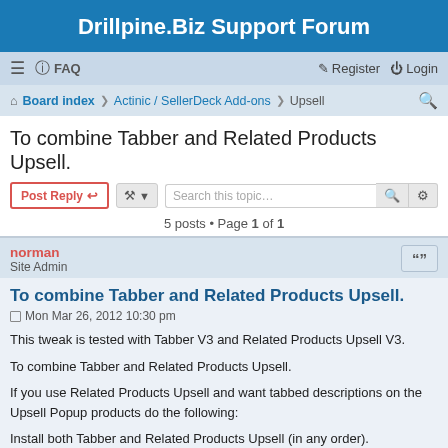Drillpine.Biz Support Forum
≡  FAQ    Register  Login
Board index · Actinic / SellerDeck Add-ons · Upsell
To combine Tabber and Related Products Upsell.
5 posts • Page 1 of 1
norman
Site Admin
To combine Tabber and Related Products Upsell.
Mon Mar 26, 2012 10:30 pm
This tweak is tested with Tabber V3 and Related Products Upsell V3.

To combine Tabber and Related Products Upsell.

If you use Related Products Upsell and want tabbed descriptions on the Upsell Popup products do the following:

Install both Tabber and Related Products Upsell (in any order).